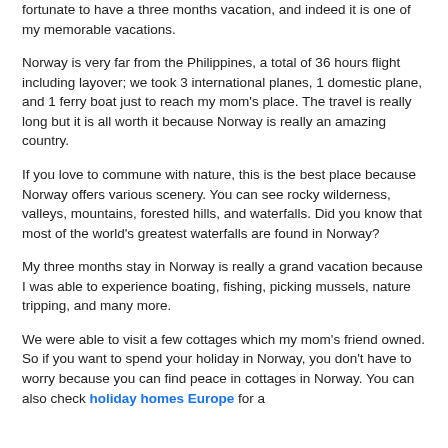fortunate to have a three months vacation, and indeed it is one of my memorable vacations.
Norway is very far from the Philippines, a total of 36 hours flight including layover; we took 3 international planes, 1 domestic plane, and 1 ferry boat just to reach my mom's place. The travel is really long but it is all worth it because Norway is really an amazing country.
If you love to commune with nature, this is the best place because Norway offers various scenery. You can see rocky wilderness, valleys, mountains, forested hills, and waterfalls. Did you know that most of the world's greatest waterfalls are found in Norway?
My three months stay in Norway is really a grand vacation because I was able to experience boating, fishing, picking mussels, nature tripping, and many more.
We were able to visit a few cottages which my mom's friend owned. So if you want to spend your holiday in Norway, you don't have to worry because you can find peace in cottages in Norway. You can also check holiday homes Europe for a